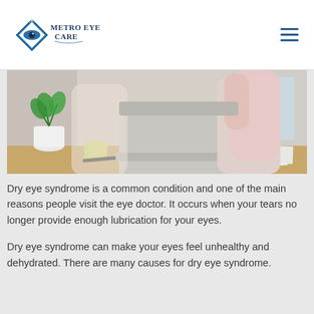Metro Eye Care
[Figure (photo): Person sitting at a laptop on a wooden desk with a potted plant, sticky notes, and a marker nearby. Person's face not visible, arms raised behind head.]
Dry eye syndrome is a common condition and one of the main reasons people visit the eye doctor. It occurs when your tears no longer provide enough lubrication for your eyes.
Dry eye syndrome can make your eyes feel unhealthy and dehydrated. There are many causes for dry eye syndrome.